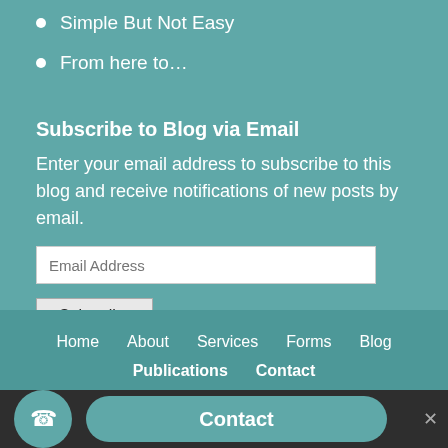Simple But Not Easy
From here to....
Subscribe to Blog via Email
Enter your email address to subscribe to this blog and receive notifications of new posts by email.
Home   About   Services   Forms   Blog   Publications   Contact
Contact